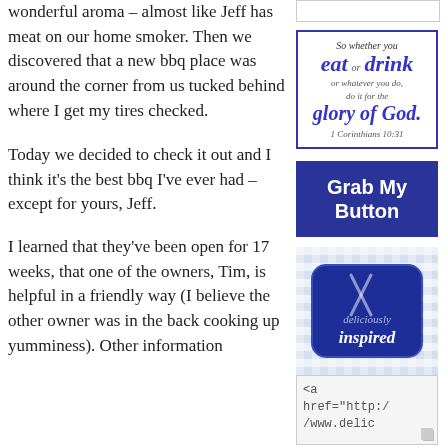wonderful aroma – almost like Jeff has meat on our home smoker.  Then we discovered that a new bbq place was around the corner from us tucked behind where I get my tires checked.
[Figure (illustration): Scripture quote box with blue border reading: 'So whether you eat or drink or whatever you do, do it for the glory of God. 1 Corinthians 10:31' with stylized calligraphy.]
Today we decided to check it out and I think it's the best bbq I've ever had – except for yours, Jeff.
[Figure (other): Dark blue button with white bold text reading 'Grab My Button']
I learned that they've been open for 17 weeks, that one of the owners, Tim, is helpful in a friendly way (I believe the other owner was in the back cooking up yumminess).  Other information
[Figure (logo): Deliciously Inspired logo: blue badge with crossed spoons/forks and italic text 'deliciously inspired' on blue gingham background]
[Figure (screenshot): Text box showing HTML code snippet beginning with '<a href="http://www.delic']